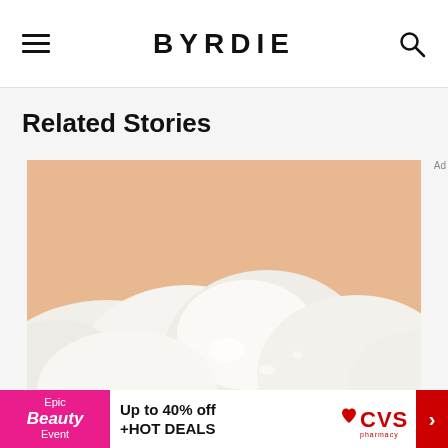BYRDIE
Related Stories
[Figure (photo): Close-up photograph of white cream or foam product on a peach/warm beige background]
Ad
Epic Beauty Event Up to 40% off +HOT DEALS CVS